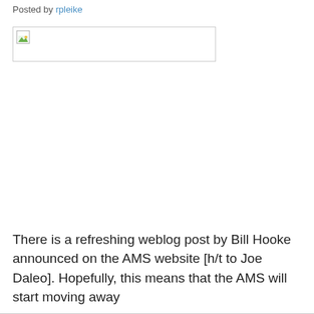Posted by rpleike
[Figure (other): Broken/missing image placeholder with small image icon in top-left corner, outlined with a thin border]
There is a refreshing weblog post by Bill Hooke announced on the AMS website [h/t to Joe Daleo]. Hopefully, this means that the AMS will start moving away